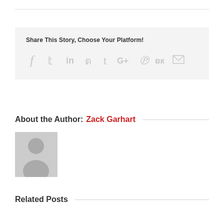Share This Story, Choose Your Platform!
[Figure (infographic): Social sharing icons: Facebook, Twitter, LinkedIn, Reddit, Tumblr, Google+, Pinterest, VK, Email]
About the Author: Zack Garhart
[Figure (photo): Generic user avatar placeholder image — grey silhouette of a person on grey background]
Related Posts